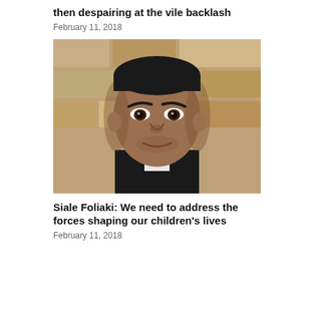then despairing at the vile backlash
February 11, 2018
[Figure (photo): Close-up portrait of a middle-aged Pacific Islander man in a suit, looking directly at the camera, with a stone/brick wall background.]
Siale Foliaki: We need to address the forces shaping our children’s lives
February 11, 2018